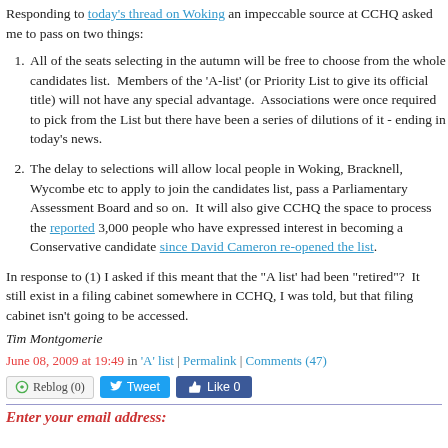Responding to today's thread on Woking an impeccable source at CCHQ asked me to pass on two things:
All of the seats selecting in the autumn will be free to choose from the whole candidates list. Members of the 'A-list' (or Priority List to give its official title) will not have any special advantage. Associations were once required to pick from the List but there have been a series of dilutions of it - ending in today's news.
The delay to selections will allow local people in Woking, Bracknell, Wycombe etc to apply to join the candidates list, pass a Parliamentary Assessment Board and so on. It will also give CCHQ the space to process the reported 3,000 people who have expressed interest in becoming a Conservative candidate since David Cameron re-opened the list.
In response to (1) I asked if this meant that the "A list' had been "retired"? It still exist in a filing cabinet somewhere in CCHQ, I was told, but that filing cabinet isn't going to be accessed.
Tim Montgomerie
June 08, 2009 at 19:49 in 'A' list | Permalink | Comments (47)